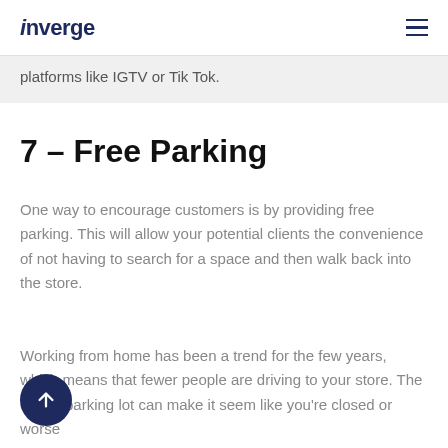inverge
platforms like IGTV or Tik Tok.
7 – Free Parking
One way to encourage customers is by providing free parking. This will allow your potential clients the convenience of not having to search for a space and then walk back into the store.
Working from home has been a trend for the few years, which means that fewer people are driving to your store. The empty parking lot can make it seem like you're closed or worse